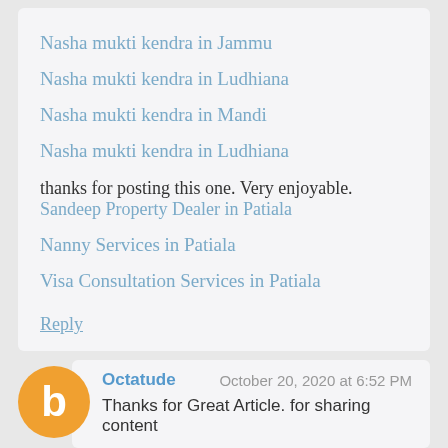Nasha mukti kendra in Jammu
Nasha mukti kendra in Ludhiana
Nasha mukti kendra in Mandi
Nasha mukti kendra in Ludhiana
thanks for posting this one. Very enjoyable.
Sandeep Property Dealer in Patiala
Nanny Services in Patiala
Visa Consultation Services in Patiala
Reply
Octatude
October 20, 2020 at 6:52 PM
Thanks for Great Article. for sharing content